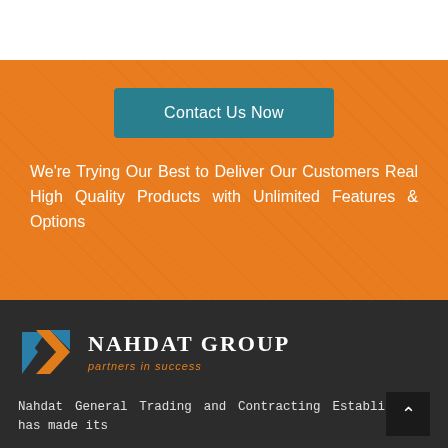[Figure (logo): Nahdat Group logo with stylized N/arrow mark in blue and orange, company name and tagline 'partners in success']
Contact Us Now
We're Trying Our Best to Deliver Our Customers Real High Quality Products with Unlimited Features & Options
Nahdat General Trading and Contracting Establishment has made its